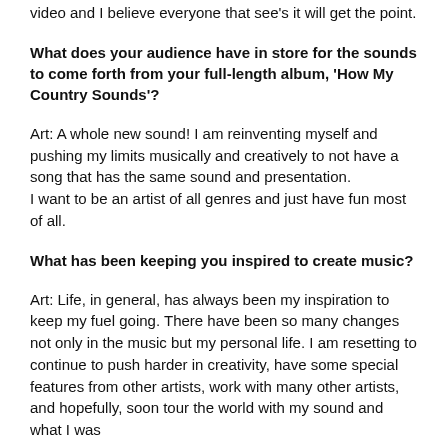video and I believe everyone that see's it will get the point.
What does your audience have in store for the sounds to come forth from your full-length album, 'How My Country Sounds'?
Art: A whole new sound! I am reinventing myself and pushing my limits musically and creatively to not have a song that has the same sound and presentation.
I want to be an artist of all genres and just have fun most of all.
What has been keeping you inspired to create music?
Art: Life, in general, has always been my inspiration to keep my fuel going. There have been so many changes not only in the music but my personal life. I am resetting to continue to push harder in creativity, have some special features from other artists, work with many other artists, and hopefully, soon tour the world with my sound and what I was